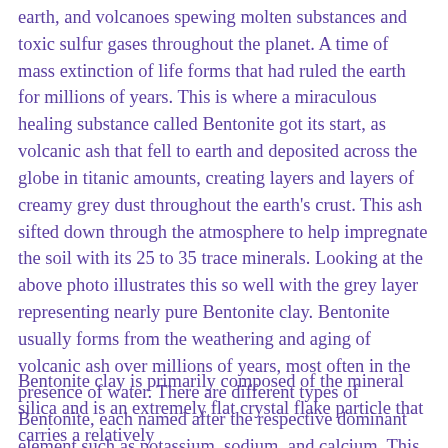earth, and volcanoes spewing molten substances and toxic sulfur gases throughout the planet. A time of mass extinction of life forms that had ruled the earth for millions of years. This is where a miraculous healing substance called Bentonite got its start, as volcanic ash that fell to earth and deposited across the globe in titanic amounts, creating layers and layers of creamy grey dust throughout the earth's crust. This ash sifted down through the atmosphere to help impregnate the soil with its 25 to 35 trace minerals. Looking at the above photo illustrates this so well with the grey layer representing nearly pure Bentonite clay. Bentonite usually forms from the weathering and aging of volcanic ash over millions of years, most often in the presence of water. There are different types of Bentonite, each named after the respective dominant element such as potassium, sodium, and calcium. This montmorillonite clay was given the name Bentonite by Wilbur C. Knight in 1898, after the largest known deposit of Benton shale near Rock River, Wyoming.
Bentonite clay is primarily composed of the mineral silica and is an extremely flat crystal flake particle that carries a relatively